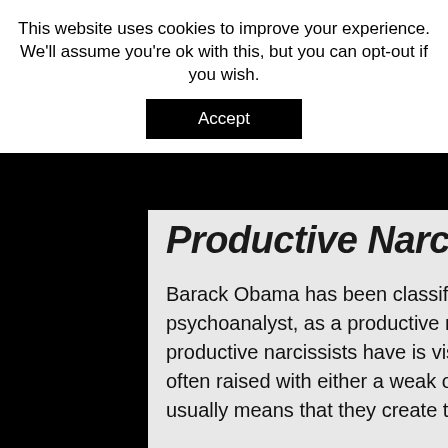This website uses cookies to improve your experience. We'll assume you're ok with this, but you can opt-out if you wish.
Accept
Productive Narcissism
Barack Obama has been classified by Michael Maccoby, an anthropologist and psychoanalyst, as a productive narcissist. One of the main characteristics that productive narcissists have is visionary leadership. Productive narcissists are often raised with either a weak or absent father figure. This absent father figure usually means that they create their own unique worldview.
Offering ways to inspire people, they usually come into political power when their is great upheaval and a need for desperate reform. One of the key differences that distance productive